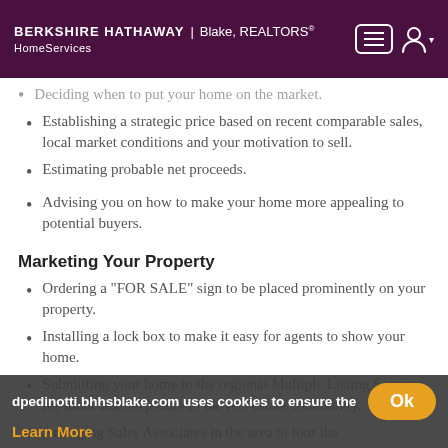BERKSHIRE HATHAWAY HomeServices | Blake, REALTORS®
Deciding when to put your home on the market.
Establishing a strategic price based on recent comparable sales, local market conditions and your motivation to sell.
Estimating probable net proceeds.
Advising you on how to make your home more appealing to potential buyers.
Marketing Your Property
Ordering a "FOR SALE" sign to be placed prominently on your property.
Installing a lock box to make it easy for agents to show your home.
Submitting your home to the regional Multiple Listing Service for immediate exposure to the real estate community.
Arranging Sales Associates in the area to tour the
dpedinotti.bhhsblake.com uses cookies to ensure the best e
Learn More